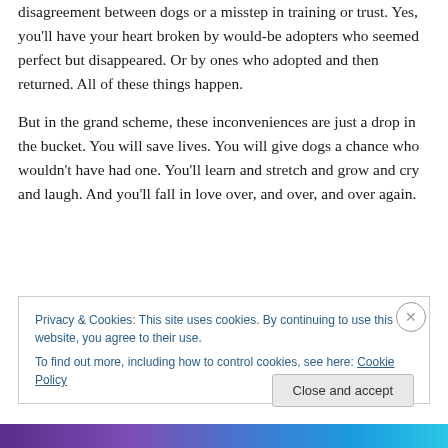disagreement between dogs or a misstep in training or trust. Yes, you'll have your heart broken by would-be adopters who seemed perfect but disappeared. Or by ones who adopted and then returned. All of these things happen.
But in the grand scheme, these inconveniences are just a drop in the bucket. You will save lives. You will give dogs a chance who wouldn't have had one. You'll learn and stretch and grow and cry and laugh. And you'll fall in love over, and over, and over again.
Privacy & Cookies: This site uses cookies. By continuing to use this website, you agree to their use.
To find out more, including how to control cookies, see here: Cookie Policy